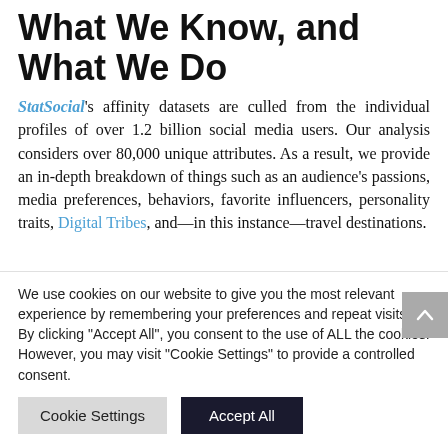What We Know, and What We Do
StatSocial's affinity datasets are culled from the individual profiles of over 1.2 billion social media users. Our analysis considers over 80,000 unique attributes. As a result, we provide an in-depth breakdown of things such as an audience's passions, media preferences, behaviors, favorite influencers, personality traits, Digital Tribes, and—in this instance—travel destinations.
We use cookies on our website to give you the most relevant experience by remembering your preferences and repeat visits. By clicking "Accept All", you consent to the use of ALL the cookies. However, you may visit "Cookie Settings" to provide a controlled consent.